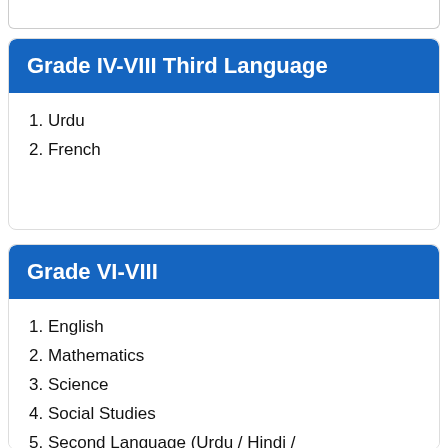Grade IV-VIII Third Language
1. Urdu
2. French
Grade VI-VIII
1. English
2. Mathematics
3. Science
4. Social Studies
5. Second Language (Urdu / Hindi /